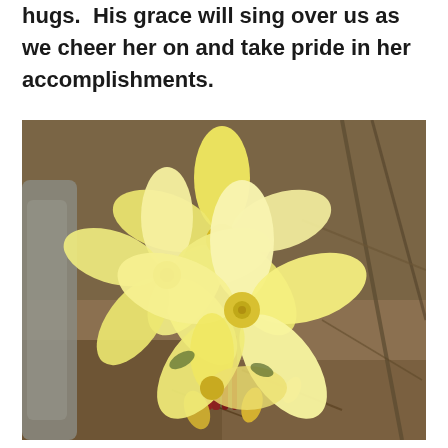hugs. His grace will sing over us as we cheer her on and take pride in her accomplishments.
[Figure (photo): Close-up photograph of yellow plumeria (frangipani) flowers in bloom, with buds and reddish stems, against a background of bare branches and mulched ground.]